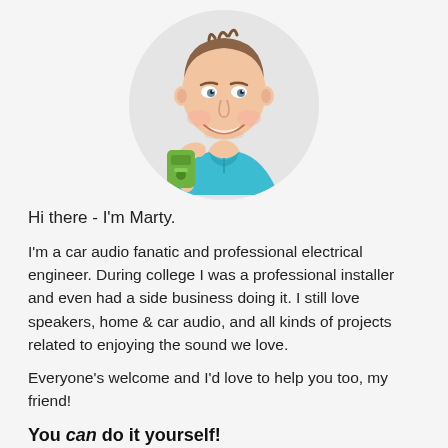[Figure (illustration): Cartoon/caricature illustration of a smiling man with brown hair wearing a teal polo shirt, holding a green tool (possibly a stud finder or scanner), shown in a circular crop against a light gray background.]
Hi there - I'm Marty.
I'm a car audio fanatic and professional electrical engineer. During college I was a professional installer and even had a side business doing it. I still love speakers, home & car audio, and all kinds of projects related to enjoying the sound we love.
Everyone's welcome and I'd love to help you too, my friend!
You can do it yourself!